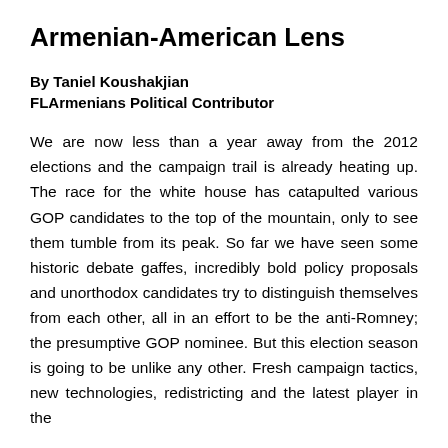Armenian-American Lens
By Taniel Koushakjian
FLArmenians Political Contributor
We are now less than a year away from the 2012 elections and the campaign trail is already heating up. The race for the white house has catapulted various GOP candidates to the top of the mountain, only to see them tumble from its peak. So far we have seen some historic debate gaffes, incredibly bold policy proposals and unorthodox candidates try to distinguish themselves from each other, all in an effort to be the anti-Romney; the presumptive GOP nominee. But this election season is going to be unlike any other. Fresh campaign tactics, new technologies, redistricting and the latest player in the